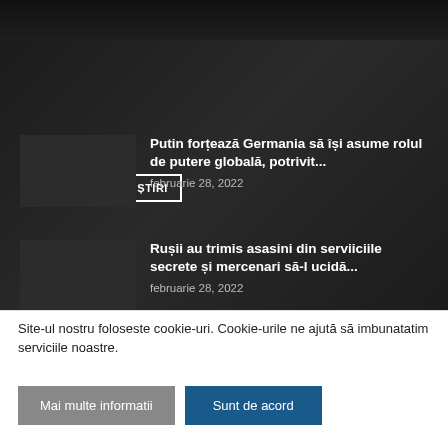ȘI MAI MULTE ȘTIRI
Putin forțează Germania să își asume rolul de putere globală, potrivit...
februarie 28, 2022
Rușii au trimis asasini din serviiciile secrete și mercenari să-l ucidă...
februarie 28, 2022
Site-ul nostru foloseste cookie-uri. Cookie-urile ne ajută să imbunatatim serviciile noastre.
Mai multe informatii
Sunt de acord